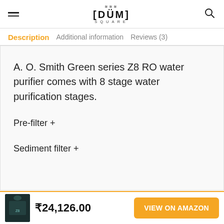[DÜM] SQUARE
Description  Additional information  Reviews (3)
A. O. Smith Green series Z8 RO water purifier comes with 8 stage water purification stages.
Pre-filter +
Sediment filter +
₹24,126.00  VIEW ON AMAZON